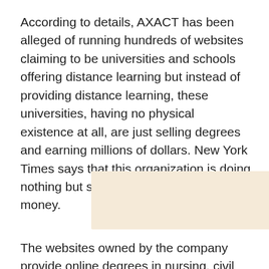According to details, AXACT has been alleged of running hundreds of websites claiming to be universities and schools offering distance learning but instead of providing distance learning, these universities, having no physical existence at all, are just selling degrees and earning millions of dollars. New York Times says that this organization is doing nothing but selling fake degrees for money.
[Figure (other): Advertisement or placeholder box with light beige background]
The websites owned by the company provide online degrees in nursing, civil engineering and many other disciplines. It even offers degrees authenticated by US Secretary of State's signatures. Slogans like 'excellent faculty, glorious future' are advertising the services and fooling the masses.